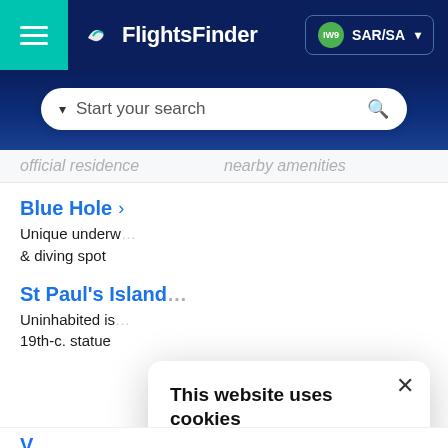[Figure (screenshot): FlightsFinder website header with teal hamburger menu, logo, and SAR/SA currency selector]
[Figure (screenshot): Search bar with 'Start your search' placeholder text and magnifying glass icon]
official residence   nearby amenities
Blue Hole >
Unique underwater & diving spot
St Paul's Island
Uninhabited island 19th-c. statue
[Figure (screenshot): Cookie consent modal: 'This website uses cookies' with ACCEPT ALL and DECLINE ALL buttons and SHOW DETAILS option]